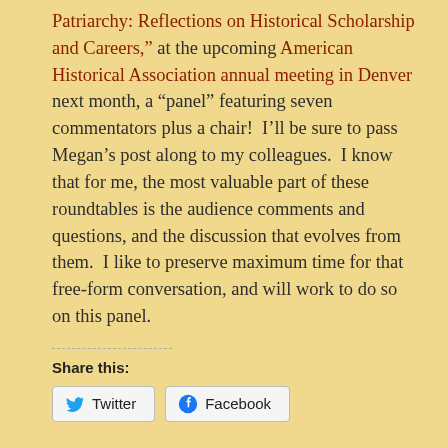Patriarchy: Reflections on Historical Scholarship and Careers," at the upcoming American Historical Association annual meeting in Denver next month, a "panel" featuring seven commentators plus a chair!  I'll be sure to pass Megan's post along to my colleagues.  I know that for me, the most valuable part of these roundtables is the audience comments and questions, and the discussion that evolves from them.  I like to preserve maximum time for that free-form conversation, and will work to do so on this panel.
Share this:
Twitter
Facebook